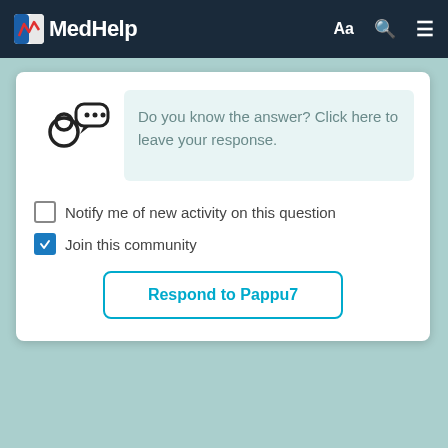MedHelp
[Figure (screenshot): MedHelp community response UI with avatar, response text box, checkboxes, and respond button]
Do you know the answer? Click here to leave your response.
Notify me of new activity on this question
Join this community
Respond to Pappu7